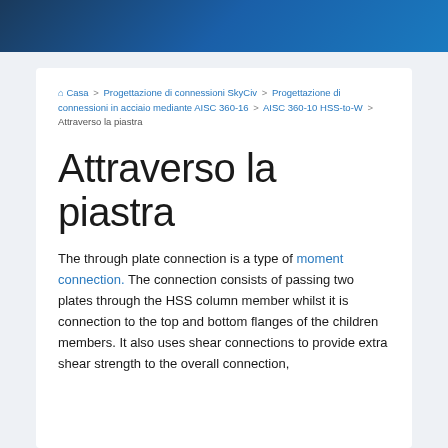Casa > Progettazione di connessioni SkyCiv > Progettazione di connessioni in acciaio mediante AISC 360-16 > AISC 360-10 HSS-to-W > Attraverso la piastra
Attraverso la piastra
The through plate connection is a type of moment connection. The connection consists of passing two plates through the HSS column member whilst it is connection to the top and bottom flanges of the children members. It also uses shear connections to provide extra shear strength to the overall connection,